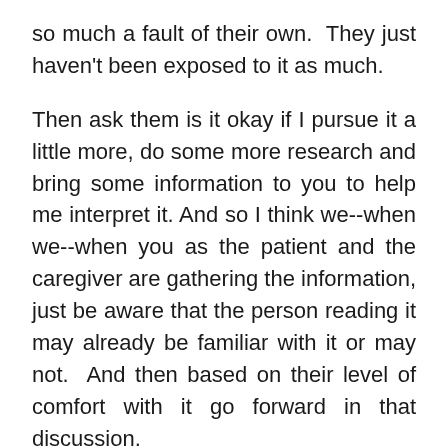so much a fault of their own. They just haven't been exposed to it as much.
Then ask them is it okay if I pursue it a little more, do some more research and bring some information to you to help me interpret it. And so I think we--when we--when you as the patient and the caregiver are gathering the information, just be aware that the person reading it may already be familiar with it or may not. And then based on their level of comfort with it go forward in that discussion.
If they have recommendations that's great. If they don't, we mentioned some of the resources where you can search online to find